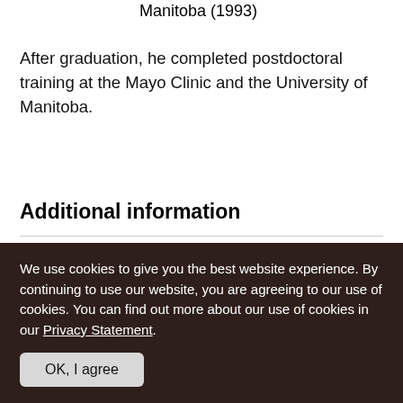Manitoba (1993)
After graduation, he completed postdoctoral training at the Mayo Clinic and the University of Manitoba.
Additional information
For more information, view Yuewen Gong’s page on the following platform:
We use cookies to give you the best website experience. By continuing to use our website, you are agreeing to our use of cookies. You can find out more about our use of cookies in our Privacy Statement.